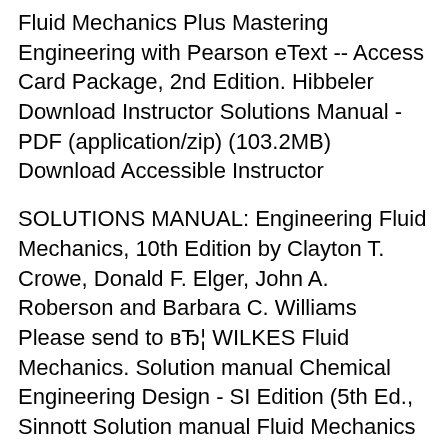Fluid Mechanics Plus Mastering Engineering with Pearson eText -- Access Card Package, 2nd Edition. Hibbeler Download Instructor Solutions Manual - PDF (application/zip) (103.2MB) Download Accessible Instructor
SOLUTIONS MANUAL: Engineering Fluid Mechanics, 10th Edition by Clayton T. Crowe, Donald F. Elger, John A. Roberson and Barbara C. Williams Please send to вЂ¦ WILKES Fluid Mechanics. Solution manual Chemical Engineering Design - SI Edition (5th Ed., Sinnott Solution manual Fluid Mechanics for Chemical Engineers (3rd Ed., Noel de. mechanics solution manual 7th